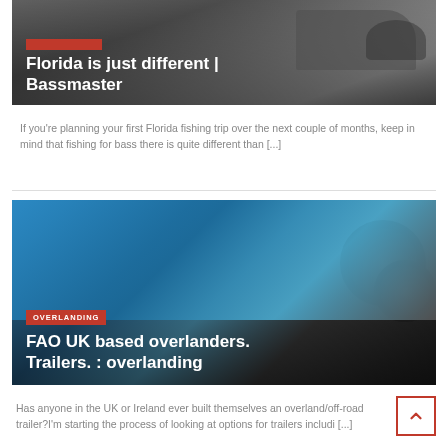[Figure (photo): Photo of a fishing boat on water with title overlay: Florida is just different | Bassmaster]
Florida is just different | Bassmaster
If you’re planning your first Florida fishing trip over the next couple of months, keep in mind that fishing for bass there is quite different than [...]
[Figure (photo): Photo of a vehicle/off-road trailer with blue body and large wheels, category badge OVERLANDING, title: FAO UK based overlanders. Trailers. : overlanding]
FAO UK based overlanders. Trailers. : overlanding
Has anyone in the UK or Ireland ever built themselves an overland/off-road trailer?I’m starting the process of looking at options for trailers includi [...]